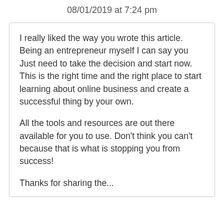08/01/2019 at 7:24 pm
I really liked the way you wrote this article. Being an entrepreneur myself I can say you Just need to take the decision and start now. This is the right time and the right place to start learning about online business and create a successful thing by your own.
All the tools and resources are out there available for you to use. Don’t think you can’t because that is what is stopping you from success!
Thanks for sharing the...